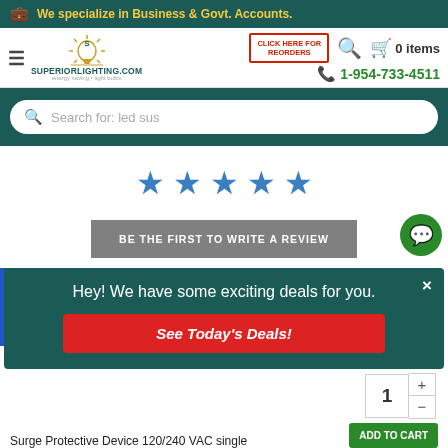We specialize in Business & Govt. Accounts.
[Figure (logo): SuperiorLighting.com logo with sun/light bulb icon]
CLICK HERE FOR REORDERS
0 items
1-954-733-4511
Search for: led sus
[Figure (infographic): Five blue star rating icons]
BE THE FIRST TO WRITE A REVIEW
Hey! We have some exciting deals for you.
See Today's Deals!
1
Surge Protective Device 120/240 VAC single